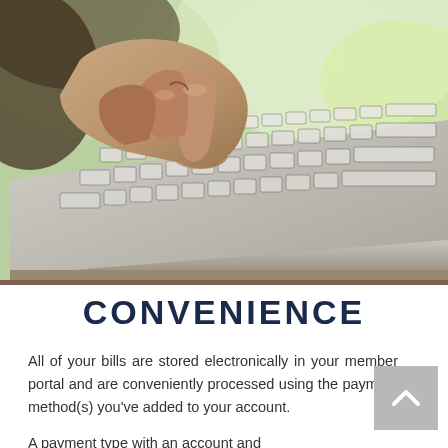[Figure (photo): Close-up photo of a hand pressing keys on a laptop keyboard, viewed from a low angle. The keyboard is silver/white with black keys, and the background is blurred green/light.]
CONVENIENCE
All of your bills are stored electronically in your member portal and are conveniently processed using the payment method(s) you’ve added to your account.
A payment type with an account and